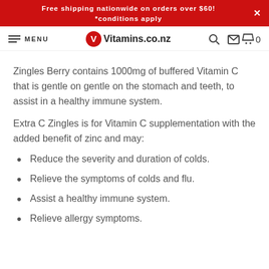Free shipping nationwide on orders over $60! *conditions apply
MENU  Vitamins.co.nz  0
Zingles Berry contains 1000mg of buffered Vitamin C that is gentle on gentle on the stomach and teeth, to assist in a healthy immune system.
Extra C Zingles is for Vitamin C supplementation with the added benefit of zinc and may:
Reduce the severity and duration of colds.
Relieve the symptoms of colds and flu.
Assist a healthy immune system.
Relieve allergy symptoms.